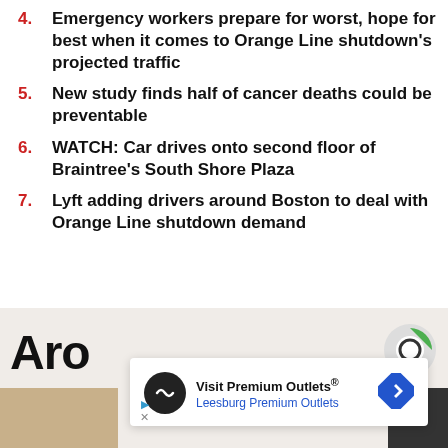4. Emergency workers prepare for worst, hope for best when it comes to Orange Line shutdown's projected traffic
5. New study finds half of cancer deaths could be preventable
6. WATCH: Car drives onto second floor of Braintree's South Shore Plaza
7. Lyft adding drivers around Boston to deal with Orange Line shutdown demand
[Figure (other): Bottom section with partial 'Aro' text, circular logo, advertisement overlay for 'Visit Premium Outlets® Leesburg Premium Outlets' with map pin icon, and two small image thumbnails.]